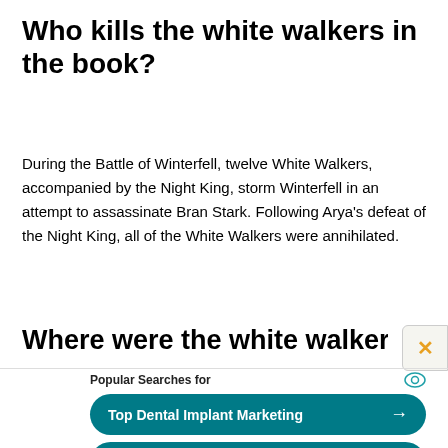Who kills the white walkers in the book?
During the Battle of Winterfell, twelve White Walkers, accompanied by the Night King, storm Winterfell in an attempt to assassinate Bran Stark. Following Arya's defeat of the Night King, all of the White Walkers were annihilated.
Where were the white walkers
[Figure (screenshot): Yahoo sponsored search ad box with 'Popular Searches for' header, two teal buttons: 'Top Dental Implant Marketing' and 'Cloud Storage Software System', and 'Yahoo! Search | Sponsored' footer.]